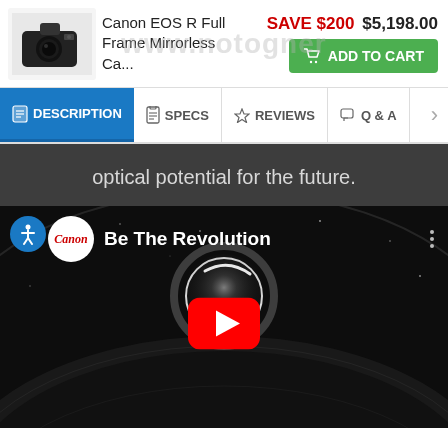[Figure (screenshot): Canon EOS R Full Frame Mirrorless camera product image thumbnail (small camera photo)]
Canon EOS R Full Frame Mirrorless Ca...
SAVE $200  $5,198.00
ADD TO CART
DESCRIPTION  SPECS  REVIEWS  Q & A
optical potential for the future.
[Figure (screenshot): YouTube video embed showing Canon 'Be The Revolution' video with a solar eclipse / planet image and red YouTube play button. Canon logo circle with 'Canon' in red italic text. Three-dot menu icon top right.]